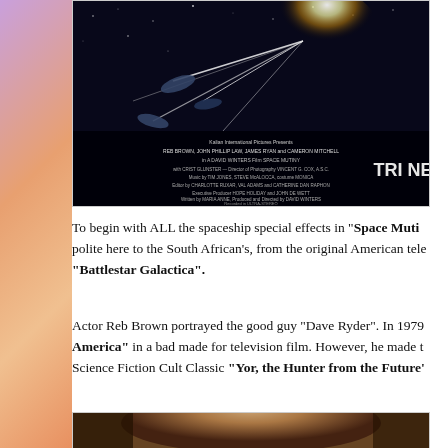[Figure (photo): Movie poster/credits image for 'Space Mutiny' showing spaceships against a dark space background with film credits text at the bottom.]
To begin with ALL the spaceship special effects in "Space Muti... polite here to the South African's, from the original American tele... "Battlestar Galactica".
Actor Reb Brown portrayed the good guy "Dave Ryder". In 1979... America" in a bad made for television film. However, he made t... Science Fiction Cult Classic "Yor, the Hunter from the Future'
[Figure (photo): Photo of actor Reb Brown, partially visible at the bottom of the page.]